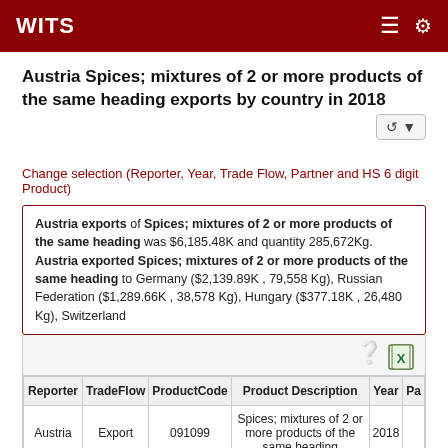WITS
Austria Spices; mixtures of 2 or more products of the same heading exports by country in 2018
Change selection (Reporter, Year, Trade Flow, Partner and HS 6 digit Product)
Austria exports of Spices; mixtures of 2 or more products of the same heading was $6,185.48K and quantity 285,672Kg. Austria exported Spices; mixtures of 2 or more products of the same heading to Germany ($2,139.89K , 79,558 Kg), Russian Federation ($1,289.66K , 38,578 Kg), Hungary ($377.18K , 26,480 Kg), Switzerland
| Reporter | TradeFlow | ProductCode | Product Description | Year | Pa |
| --- | --- | --- | --- | --- | --- |
| Austria | Export | 091099 | Spices; mixtures of 2 or more products of the same heading | 2018 |  |